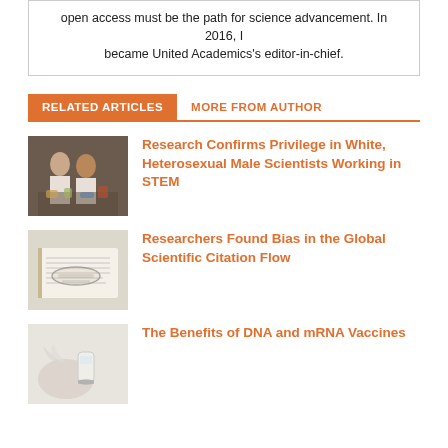open access must be the path for science advancement. In 2016, I became United Academics's editor-in-chief.
RELATED ARTICLES   MORE FROM AUTHOR
[Figure (photo): Two scientists in lab coats working at a lab bench with chemicals and equipment]
Research Confirms Privilege in White, Heterosexual Male Scientists Working in STEM
[Figure (photo): Open book with reading glasses resting on top]
Researchers Found Bias in the Global Scientific Citation Flow
[Figure (photo): Gloved hand holding a small vaccine vial]
The Benefits of DNA and mRNA Vaccines